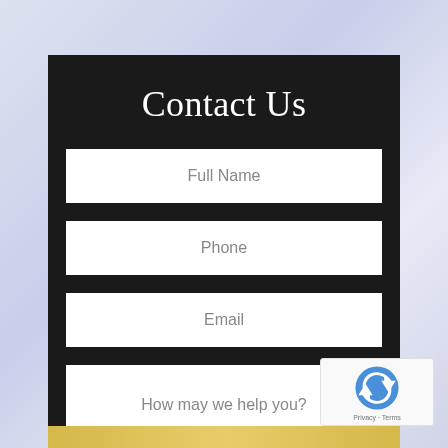Contact Us
Full Name
Phone
Email
How may we help you?